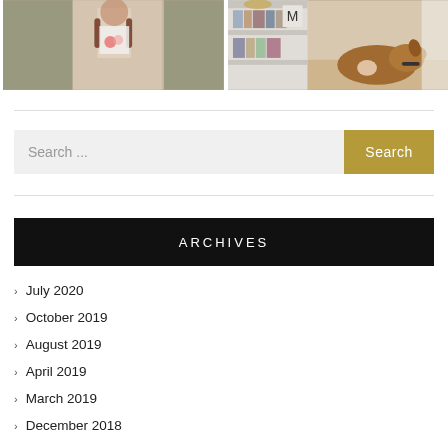[Figure (photo): Young girl with braided red hair in a white tank top holding flowers, outdoors]
[Figure (photo): A brown dog resting near a bookshelf with books and decorative items in a home interior]
Search ...
ARCHIVES
July 2020
October 2019
August 2019
April 2019
March 2019
December 2018
October 2018